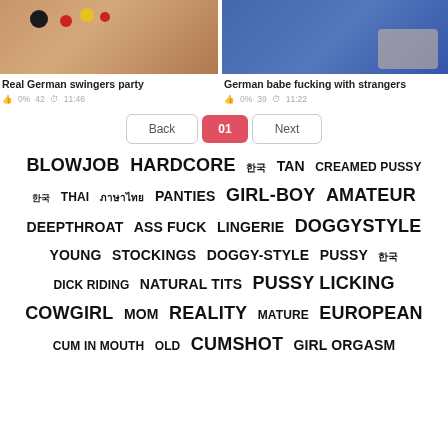[Figure (photo): Thumbnail of Real German swingers party video]
[Figure (photo): Thumbnail of German babe fucking with strangers video]
Real German swingers party
German babe fucking with strangers
0%  42  11:46
0%  39  11:22
Back  01  Next
BLOWJOB  HARDCORE  한국  TAN  CREAMED PUSSY  한국  THAI  ภาษาไทย  PANTIES  GIRL-BOY  AMATEUR  DEEPTHROAT  ASS FUCK  LINGERIE  DOGGYSTYLE  YOUNG  STOCKINGS  DOGGY-STYLE  PUSSY  한국  DICK RIDING  NATURAL TITS  PUSSY LICKING  COWGIRL  MOM  REALITY  MATURE  EUROPEAN  CUM IN MOUTH  OLD  CUMSHOT  GIRL ORGASM